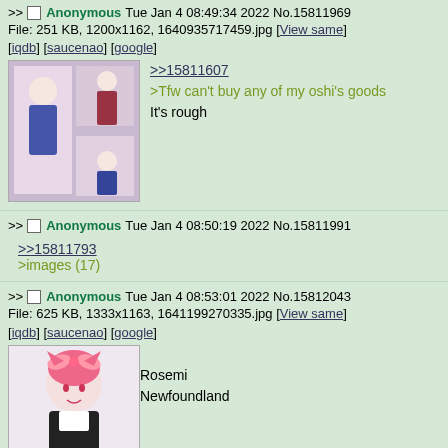>> Anonymous Tue Jan 4 08:49:34 2022 No.15811969
File: 251 KB, 1200x1162, 1640935717459.jpg [View same] [iqdb] [saucenao] [google]
[Figure (illustration): Anime art of a white-haired cat girl character in multiple poses]
>>15811607
>Tfw can't buy any of my oshi's goods
It's rough
>> Anonymous Tue Jan 4 08:50:19 2022 No.15811991
>>15811793
>images (17)
>> Anonymous Tue Jan 4 08:53:01 2022 No.15812043
File: 625 KB, 1333x1163, 1641199270335.jpg [View same] [iqdb] [saucenao] [google]
[Figure (illustration): Anime art of a pink-haired cat girl character with bow]
Rosemi Newfoundland